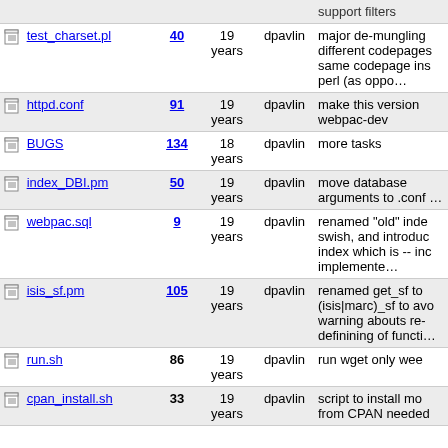| Name | Rev | Age | Author | Last log entry |
| --- | --- | --- | --- | --- |
|  |  |  |  | support filters |
| test_charset.pl | 40 | 19 years | dpavlin | major de-mungling different codepages same codepage ins perl (as oppo… |
| httpd.conf | 91 | 19 years | dpavlin | make this version webpac-dev |
| BUGS | 134 | 18 years | dpavlin | more tasks |
| index_DBI.pm | 50 | 19 years | dpavlin | move database arguments to .conf … |
| webpac.sql | 9 | 19 years | dpavlin | renamed "old" inde swish, and introduc index which is -- inc implemente… |
| isis_sf.pm | 105 | 19 years | dpavlin | renamed get_sf to (isis|marc)_sf to avo warning abouts re-definining of functi… |
| run.sh | 86 | 19 years | dpavlin | run wget only wee |
| cpan_install.sh | 33 | 19 years | dpavlin | script to install mo from CPAN needed |